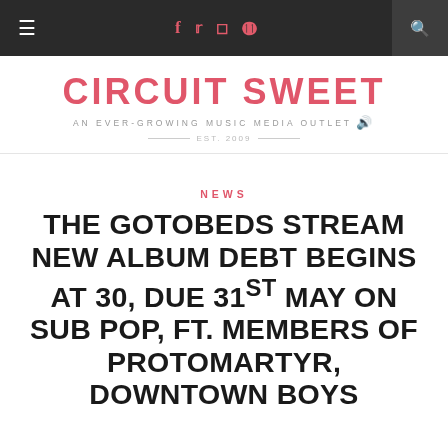Circuit Sweet — Navigation bar with hamburger menu, social icons (f, t, instagram, pinterest), and search
CIRCUIT SWEET — AN EVER-GROWING MUSIC MEDIA OUTLET — EST. 2009
NEWS
THE GOTOBEDS STREAM NEW ALBUM DEBT BEGINS AT 30, DUE 31ST MAY ON SUB POP, FT. MEMBERS OF PROTOMARTYR, DOWNTOWN BOYS